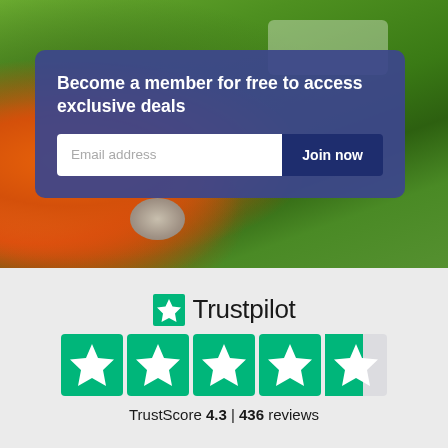[Figure (photo): Garden/outdoor photo with orange flowers, green lawn, stone, and outdoor furniture in background]
Become a member for free to access exclusive deals
Email address | Join now
[Figure (logo): Trustpilot logo with green star and 4.3 out of 5 stars rating, 436 reviews]
TrustScore 4.3 | 436 reviews